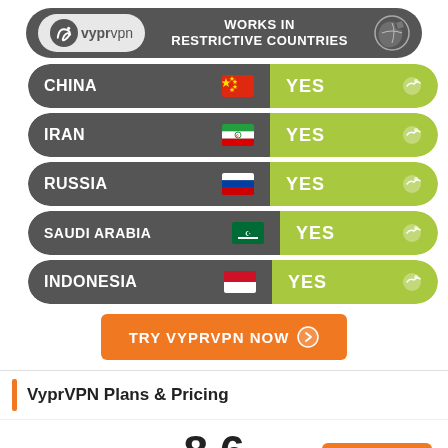[Figure (infographic): VyprVPN logo banner with 'Works in Restrictive Countries' heading and a globe/person icon]
CHINA - YES
IRAN - YES
RUSSIA - YES
SAUDI ARABIA - YES
INDONESIA - YES
[Figure (infographic): Orange CTA button: TRY VYPRVPN NOW with arrow icon]
VyprVPN Plans & Pricing
[Figure (infographic): VyprVPN logo, score 8.6, star rating (4 gold stars, 1 grey), and orange Visit VYPRVPN badge]